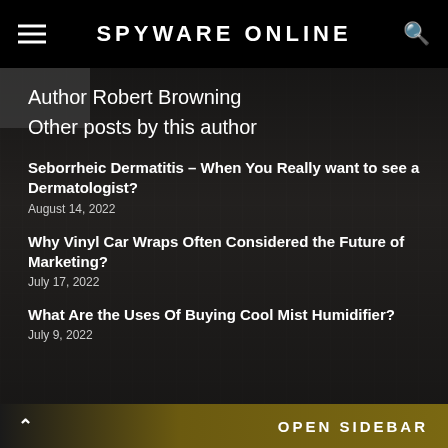SPYWARE ONLINE
Author Robert Browning
Other posts by this author
Seborrheic Dermatitis – When You Really want to see a Dermatologist?
August 14, 2022
Why Vinyl Car Wraps Often Considered the Future of Marketing?
July 17, 2022
What Are the Uses Of Buying Cool Mist Humidifier?
July 9, 2022
OPEN SIDEBAR